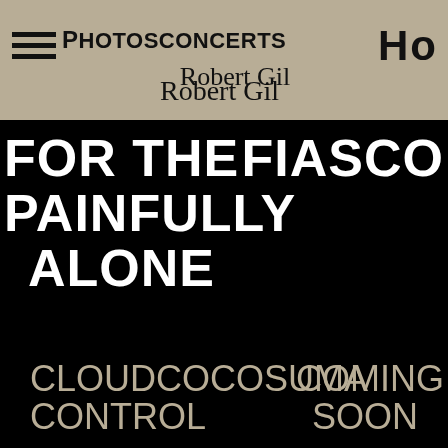Photosconcerts  HO
[Figure (illustration): Handwritten signature reading 'Robert Gil']
FOR THE PAINFULLY ALONE
FIASCO
CLOUDCOCOSUMACOMING CONTROL SOON